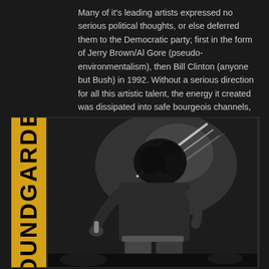Many of it's leading artists expressed no serious political thoughts, or else deferred them to the Democratic party; first in the form of Jerry Brown/Al Gore (pseudo-environmentalism), then Bill Clinton (anyone but Bush) in 1992. Without a serious direction for all this artistic talent, the energy it created was dissipated into safe bourgeois channels, and it's artists mostly became irrelevant (or dead) soon after.
[Figure (photo): Black and white concert photo of a performer with curly hair bending forward, with a yellow vertical banner on the left reading 'SOUNDGARDEN' in bold black capital letters on a gold/yellow background.]